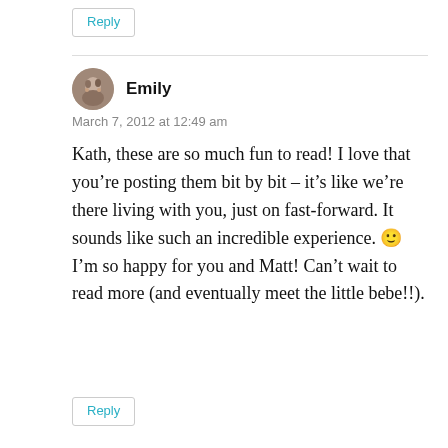Reply
Emily
March 7, 2012 at 12:49 am
Kath, these are so much fun to read! I love that you’re posting them bit by bit – it’s like we’re there living with you, just on fast-forward. It sounds like such an incredible experience. 🙂 I’m so happy for you and Matt! Can’t wait to read more (and eventually meet the little bebe!!).
Reply